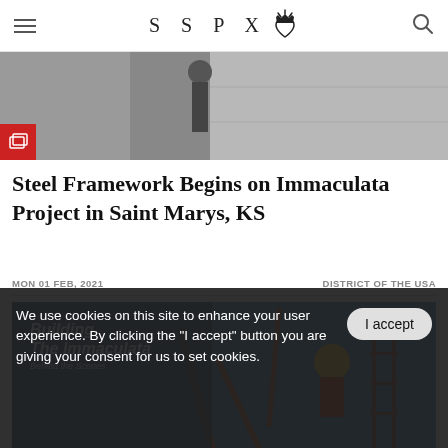SSPX [logo with crown and heart]
[Figure (photo): Top image showing construction work, person visible against concrete wall, with red gallery icon overlay in bottom-left corner]
Steel Framework Begins on Immaculata Project in Saint Marys, KS
MON 01 FEB, 2021   DISTRICT OF THE USA
[Figure (photo): Photo of steel framework construction with overlay text 'Building The Immaculata Behind the Scenes' in italic white text over blue sky background]
We use cookies on this site to enhance your user experience. By clicking the "I accept" button you are giving your consent for us to set cookies.